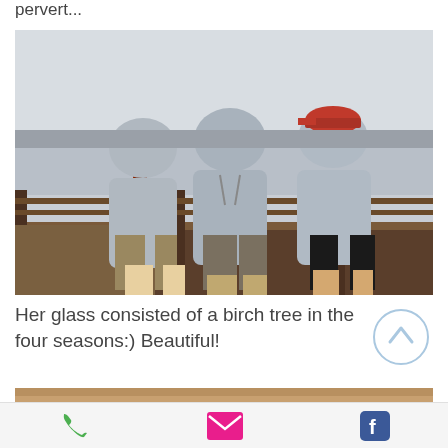pervert...
[Figure (photo): Three men wearing grey hoodies standing with their backs to the camera on a wooden deck/pier overlooking water, one wearing a red cap. A beer bottle is visible on the left railing.]
Her glass consisted of a birch tree in the four seasons:)  Beautiful!
[Figure (photo): Partial view of another photo at the bottom of the page.]
Phone, Email, Facebook icons